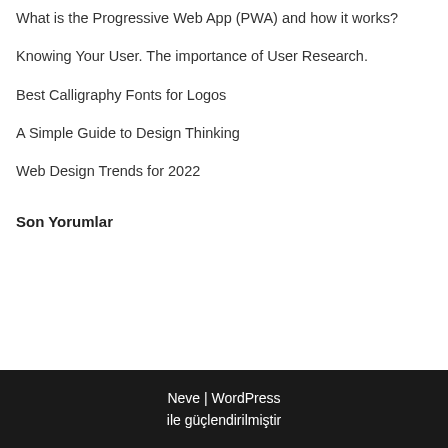What is the Progressive Web App (PWA) and how it works?
Knowing Your User. The importance of User Research.
Best Calligraphy Fonts for Logos
A Simple Guide to Design Thinking
Web Design Trends for 2022
Son Yorumlar
Neve | WordPress ile güçlendirilmiştir